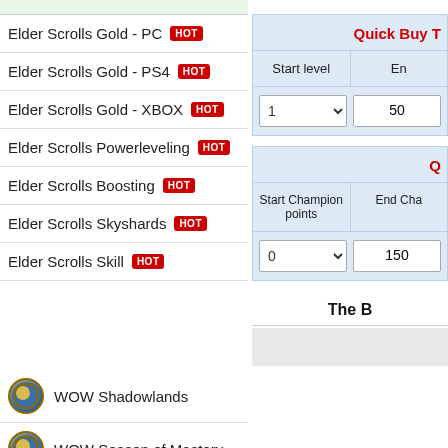Elder Scrolls Gold - PC HOT
Elder Scrolls Gold - PS4 HOT
Elder Scrolls Gold - XBOX HOT
Elder Scrolls Powerleveling HOT
Elder Scrolls Boosting HOT
Elder Scrolls Skyshards HOT
Elder Scrolls Skill HOT
WOW Shadowlands
WOW Season of Mastery
Quick Buy T
Start level
En
1
50
Q
Start Champion points
End Cha
0
150
The B